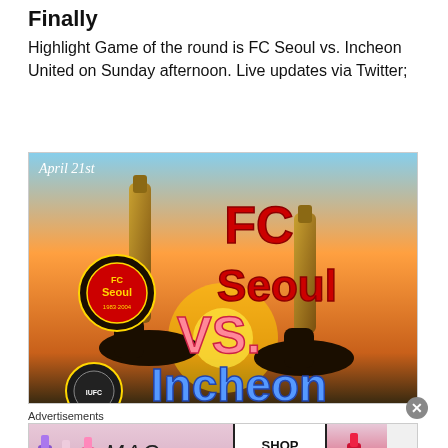Finally
Highlight Game of the round is FC Seoul vs. Incheon United on Sunday afternoon. Live updates via Twitter;
[Figure (photo): Promotional matchday graphic for FC Seoul vs Incheon United on April 21st, showing hands clinking beer bottles against a sunset background with team logos and bold red/pink/blue text reading FC Seoul VS. Incheon]
Advertisements
[Figure (photo): MAC cosmetics advertisement banner showing lipsticks in purple, pink and red shades with MAC logo and SHOP NOW button]